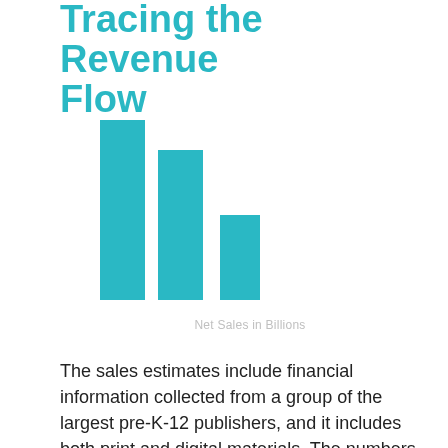Tracing the Revenue Flow
[Figure (bar-chart): Net Sales in Billions]
Net Sales in Billions
The sales estimates include financial information collected from a group of the largest pre-K-12 publishers, and it includes both print and digital materials. The numbers reflect index...